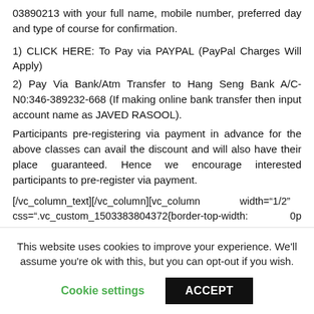03890213 with your full name, mobile number, preferred day and type of course for confirmation.
1) CLICK HERE: To Pay via PAYPAL (PayPal Charges Will Apply)
2) Pay Via Bank/Atm Transfer to Hang Seng Bank A/C-N0:346-389232-668 (If making online bank transfer then input account name as JAVED RASOOL).
Participants pre-registering via payment in advance for the above classes can avail the discount and will also have their place guaranteed. Hence we encourage interested participants to pre-register via payment.
[/vc_column_text][/vc_column][vc_column width="1/2" css=".vc_custom_1503383804372{border-top-width: 0px !important;border-right-width: 0px !important;border-bottom-width: 0px !important;border-left-width: 0px !important;background-color: #efefef !important;border-left-color: #ffffff !important;border-left-style: none !important;border-right-
This website uses cookies to improve your experience. We'll assume you're ok with this, but you can opt-out if you wish.
Cookie settings  ACCEPT